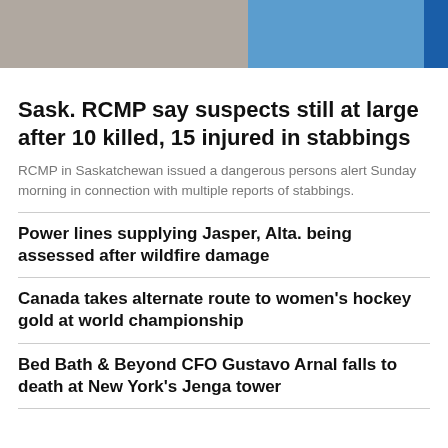[Figure (photo): Two mugshot-style photos of suspects side by side, partially cropped at top]
Sask. RCMP say suspects still at large after 10 killed, 15 injured in stabbings
RCMP in Saskatchewan issued a dangerous persons alert Sunday morning in connection with multiple reports of stabbings.
Power lines supplying Jasper, Alta. being assessed after wildfire damage
Canada takes alternate route to women's hockey gold at world championship
Bed Bath & Beyond CFO Gustavo Arnal falls to death at New York's Jenga tower